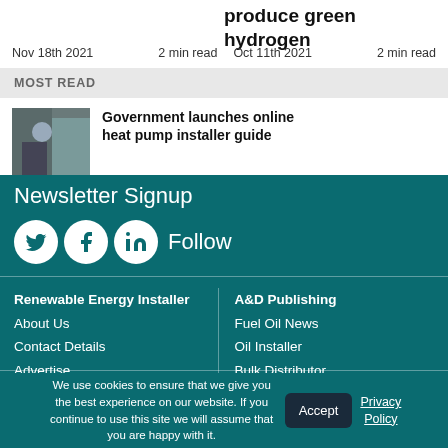produce green hydrogen
Nov 18th 2021   2 min read   Oct 11th 2021   2 min read
MOST READ
Government launches online heat pump installer guide
Newsletter Signup
Follow
Renewable Energy Installer
About Us
Contact Details
Advertise
A&D Publishing
Fuel Oil News
Oil Installer
Bulk Distributor
We use cookies to ensure that we give you the best experience on our website. If you continue to use this site we will assume that you are happy with it.